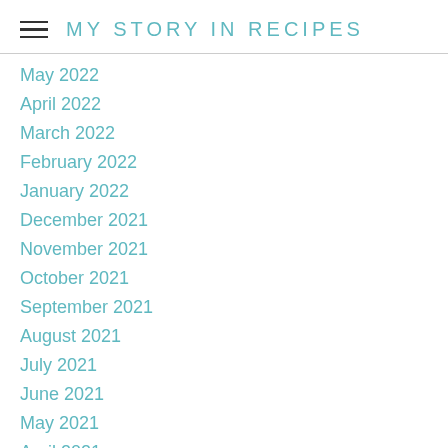MY STORY IN RECIPES
May 2022
April 2022
March 2022
February 2022
January 2022
December 2021
November 2021
October 2021
September 2021
August 2021
July 2021
June 2021
May 2021
April 2021
March 2021
February 2021
January 2021